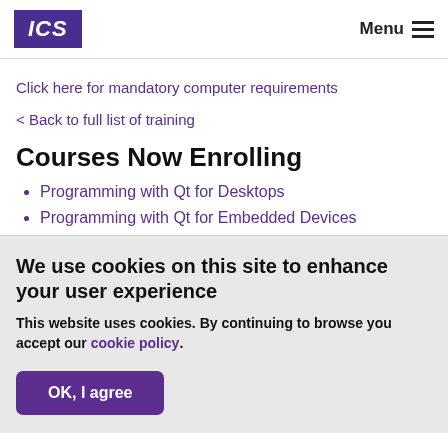ICS | Menu
Click here for mandatory computer requirements
< Back to full list of training
Courses Now Enrolling
Programming with Qt for Desktops
Programming with Qt for Embedded Devices
We use cookies on this site to enhance your user experience
This website uses cookies. By continuing to browse you accept our cookie policy.
OK, I agree